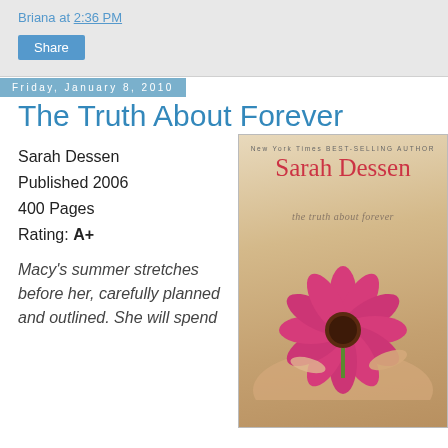Briana at 2:36 PM
Share
Friday, January 8, 2010
The Truth About Forever
Sarah Dessen
Published 2006
400 Pages
Rating: A+
Macy's summer stretches before her, carefully planned and outlined. She will spend
[Figure (photo): Book cover of 'The Truth About Forever' by Sarah Dessen. Cover shows hands holding a pink flower (coneflower/echinacea). Text reads: New York Times BEST-SELLING AUTHOR, Sarah Dessen, the truth about forever.]